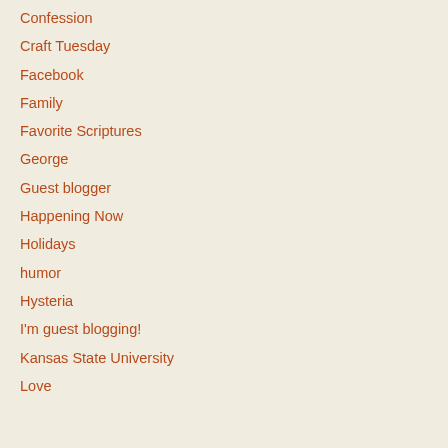Confession
Craft Tuesday
Facebook
Family
Favorite Scriptures
George
Guest blogger
Happening Now
Holidays
humor
Hysteria
I'm guest blogging!
Kansas State University
Love